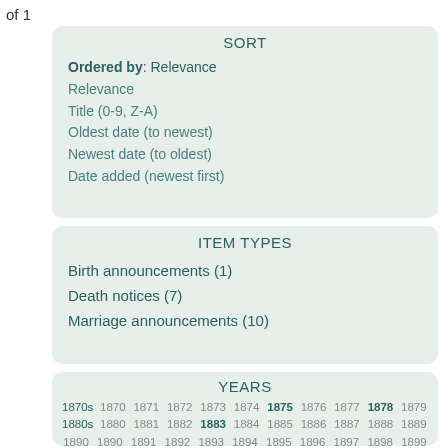of 1
SORT
Ordered by: Relevance
Relevance
Title (0-9, Z-A)
Oldest date (to newest)
Newest date (to oldest)
Date added (newest first)
ITEM TYPES
Birth announcements (1)
Death notices (7)
Marriage announcements (10)
YEARS
1870s 1870 1871 1872 1873 1874 1875 1876 1877 1878 1879
1880s 1880 1881 1882 1883 1884 1885 1886 1887 1888 1889
1890 1890 1891 1892 1893 1894 1895 1896 1897 1898 1899